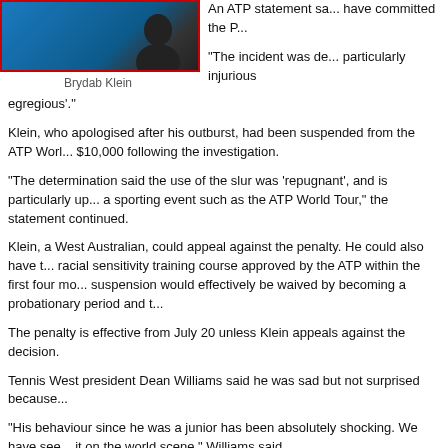[Figure (photo): Photo of Brydab Klein against a blue background]
Brydab Klein
An ATP statement said... have committed the P...
"The incident was de... particularly injurious... egregious'."
Klein, who apologised after his outburst, had been suspended from the ATP Worl... $10,000 following the investigation.
"The determination said the use of the slur was 'repugnant', and is particularly up... a sporting event such as the ATP World Tour," the statement continued.
Klein, a West Australian, could appeal against the penalty. He could also have t... racial sensitivity training course approved by the ATP within the first four mo... suspension would effectively be waived by becoming a probationary period and t...
The penalty is effective from July 20 unless Klein appeals against the decision.
Tennis West president Dean Williams said he was sad but not surprised because...
"His behaviour since he was a junior has been absolutely shocking. We have see... it on the world scene," Williams said.
"That is possibly, the most derogatory shocking terminology to another human bei...
"They are fed up with him. It is obviously going to jolt him.
"I am very aware they had to apply a harsh penalty because they had to send a m... behaviour. Unfortunately, it is rife amongst the juniors."